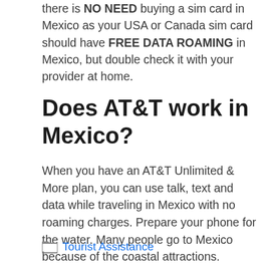there is NO NEED buying a sim card in Mexico as your USA or Canada sim card should have FREE DATA ROAMING in Mexico, but double check it with your provider at home.
Does AT&T work in Mexico?
When you have an AT&T Unlimited & More plan, you can use talk, text and data while traveling in Mexico with no roaming charges. Prepare your phone for the water. Many people go to Mexico because of the coastal attractions.
Tourist Assistance